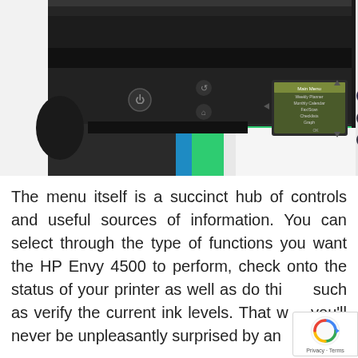[Figure (photo): Close-up photograph of an HP Envy 4500 printer showing the control panel with a small LCD screen displaying a menu with options, navigation buttons, power button, and paper tray with colorful paper visible.]
The menu itself is a succinct hub of controls and useful sources of information. You can select through the type of functions you want the HP Envy 4500 to perform, check onto the status of your printer as well as do things such as verify the current ink levels. That way you'll never be unpleasantly surprised by an